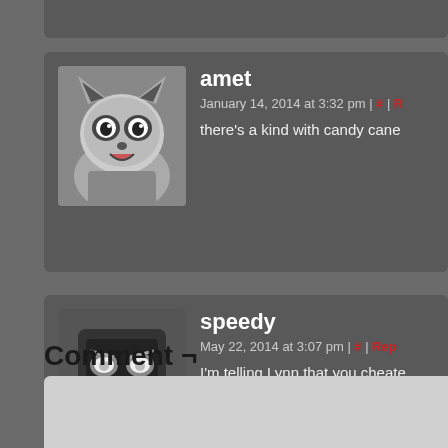[Figure (other): Partial top of a comment card (cut off at top of page)]
amet
January 14, 2014 at 3:32 pm | # | [link]
there's a kind with candy cane
speedy
May 22, 2014 at 3:07 pm | # | [Reply]
I'm telling Lynn that you cheated marshmallow-free hot chocolat... saw someone drinking that swi...
Comment ¬
[Figure (other): Comment text input form box (light gray, partially visible at bottom)]